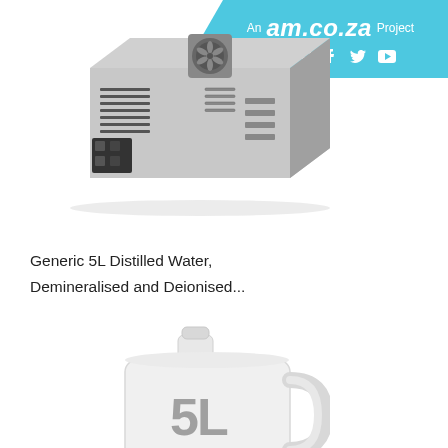An am.co.za Project
[Figure (photo): Metallic enclosed switching power supply unit with fan on top and ventilation slits on the side]
Generic 5L Distilled Water, Demineralised and Deionised...
[Figure (photo): White 5L plastic container/jug labelled '5L DISTILLED WATER']